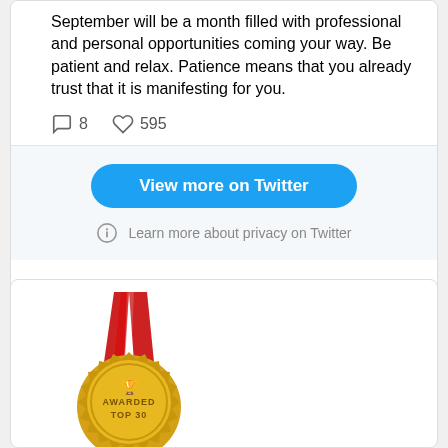September will be a month filled with professional and personal opportunities coming your way. Be patient and relax. Patience means that you already trust that it is manifesting for you.
[Figure (screenshot): Twitter embed footer with 'View more on Twitter' button and 'Learn more about privacy on Twitter' link with info icon]
[Figure (illustration): Gold medal award badge with red ribbon on top and text 'AWARDED TOP 30' on the medal face]